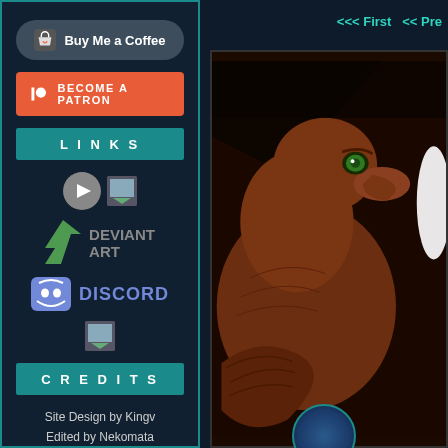[Figure (screenshot): Website sidebar with Buy Me a Coffee button, Become a Patron button, Links section with PeerTube, DeviantArt, Discord icons, and Credits section. Right side shows partial view of a webcomic page featuring a brown eagle/gryphon character with green eyes, with navigation links '<<< First  << Pre' at top right.]
Buy Me a Coffee
BECOME A PATRON
LINKS
[Figure (logo): PeerTube logo icon (circle with play button) and small image icon]
[Figure (logo): DeviantArt green lightning bolt logo with DEVIANT ART text in gray]
[Figure (logo): Discord purple chat bubble logo with DISCORD text in blue/purple]
[Figure (logo): Small image icon]
CREDITS
Site Design by Kingv
Edited by Nekomata
<<< First  << Pre